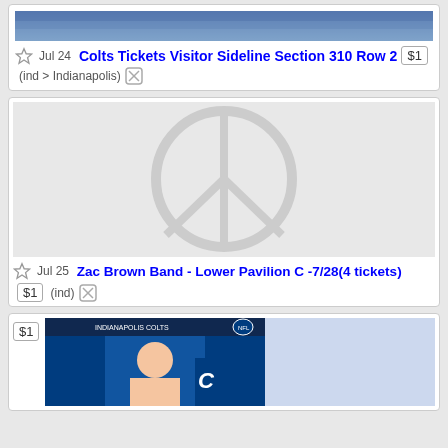[Figure (photo): Stadium seating photo cropped at top]
Jul 24  Colts Tickets Visitor Sideline Section 310 Row 2  $1
(ind > Indianapolis)
[Figure (illustration): Peace sign placeholder image in light gray]
Jul 25  Zac Brown Band - Lower Pavilion C -7/28(4 tickets)
$1  (ind)
[Figure (photo): Indianapolis Colts ticket listing with Matt Ryan photo and Colts logo]
$1